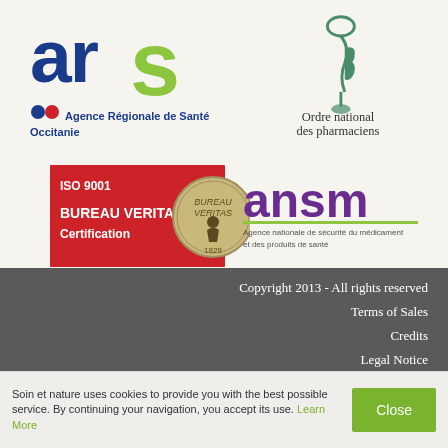[Figure (logo): ARS - Agence Régionale de Santé Occitanie logo with blue and green text]
[Figure (logo): Ordre national des pharmaciens logo with caduceus symbol]
[Figure (logo): Bureau Veritas ISO 9001 Certification logo, red background with medallion]
[Figure (logo): ANSM - Agence nationale de sécurité du médicament et des produits de santé logo]
Copyright 2013 - All rights reserved
Terms of Sales
Credits
Legal Notice
Who are we ?
Soin et nature uses cookies to provide you with the best possible service. By continuing your navigation, you accept its use. Learn More